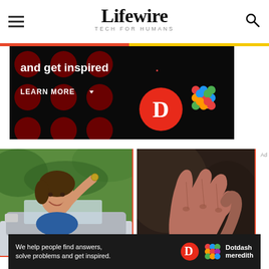Lifewire — TECH FOR HUMANS
[Figure (screenshot): Dotdash Meredith advertisement banner with dark background, red dots pattern, white text reading 'and get inspired.' with orange period, 'LEARN MORE' button with arrow, and Dotdash (D) logo plus colorful flower/diamond logo]
[Figure (photo): Woman smiling, leaning out of car window, holding car keys, trees in background]
[Figure (photo): Close-up of hands in dark dramatic lighting, appear to be grasping or gesturing]
[Figure (screenshot): Bottom banner: 'We help people find answers, solve problems and get inspired.' with Dotdash Meredith logo]